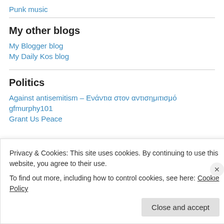Punk music
My other blogs
My Blogger blog
My Daily Kos blog
Politics
Against antisemitism – Ενάντια στον αντισημιτισμό
gfmurphy101
Grant Us Peace
Privacy & Cookies: This site uses cookies. By continuing to use this website, you agree to their use.
To find out more, including how to control cookies, see here: Cookie Policy
Close and accept